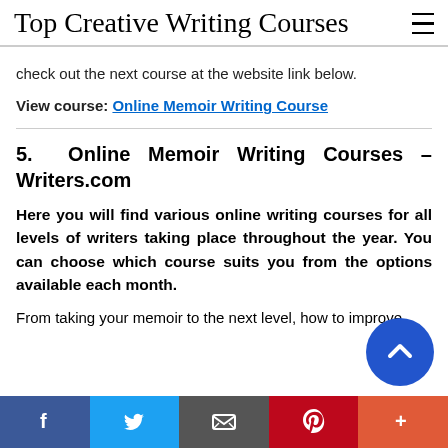Top Creative Writing Courses
check out the next course at the website link below.
View course: Online Memoir Writing Course
5. Online Memoir Writing Courses – Writers.com
Here you will find various online writing courses for all levels of writers taking place throughout the year. You can choose which course suits you from the options available each month.
From taking your memoir to the next level, how to improve